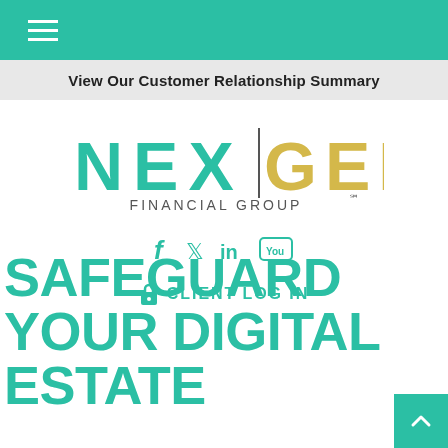[Figure (other): Navigation bar with hamburger menu icon on teal/green background]
View Our Customer Relationship Summary
[Figure (logo): NexGen Financial Group logo with teal NEX and gold GEN text]
[Figure (other): Social media icons: Facebook, Twitter, LinkedIn, YouTube in teal]
CLIENT LOG IN
SAFEGUARD YOUR DIGITAL ESTATE